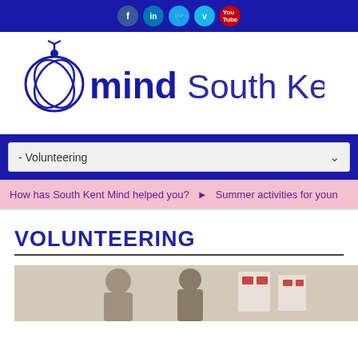Social media icons: Facebook, LinkedIn, Twitter, Vimeo, YouTube
[Figure (logo): Mind South Kent logo — stylized circular sketch icon in dark blue next to 'mind' in lowercase and 'South Kent' in larger text, all in dark blue/purple]
- Volunteering
How has South Kent Mind helped you? ▶ Summer activities for youn
VOLUNTEERING
[Figure (photo): Photo of people at what appears to be a workshop or meeting, partially visible at bottom of page]